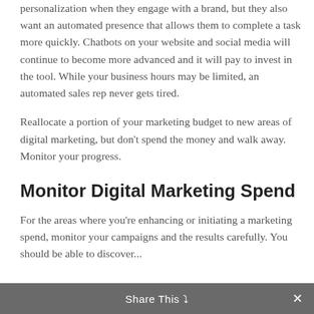personalization when they engage with a brand, but they also want an automated presence that allows them to complete a task more quickly. Chatbots on your website and social media will continue to become more advanced and it will pay to invest in the tool. While your business hours may be limited, an automated sales rep never gets tired.
Reallocate a portion of your marketing budget to new areas of digital marketing, but don't spend the money and walk away. Monitor your progress.
Monitor Digital Marketing Spend
For the areas where you're enhancing or initiating a marketing spend, monitor your campaigns and the results carefully. Your website analytics, a...
Share This ×